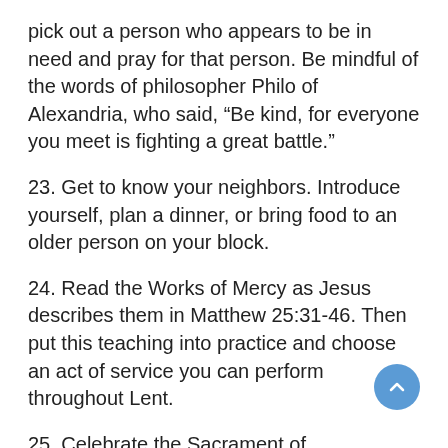pick out a person who appears to be in need and pray for that person. Be mindful of the words of philosopher Philo of Alexandria, who said, “Be kind, for everyone you meet is fighting a great battle.”
23. Get to know your neighbors. Introduce yourself, plan a dinner, or bring food to an older person on your block.
24. Read the Works of Mercy as Jesus describes them in Matthew 25:31-46. Then put this teaching into practice and choose an act of service you can perform throughout Lent.
25. Celebrate the Sacrament of Reconciliation. Can’t remember how? Tell the priest it’s been a while, and ask him to guide you through it.